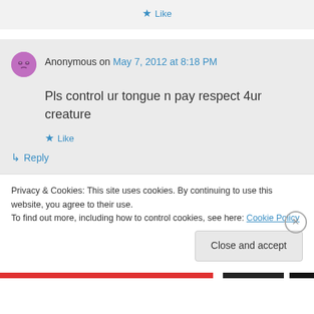★ Like
Anonymous on May 7, 2012 at 8:18 PM
Pls control ur tongue n pay respect 4ur creature
★ Like
↳ Reply
Privacy & Cookies: This site uses cookies. By continuing to use this website, you agree to their use. To find out more, including how to control cookies, see here: Cookie Policy
Close and accept